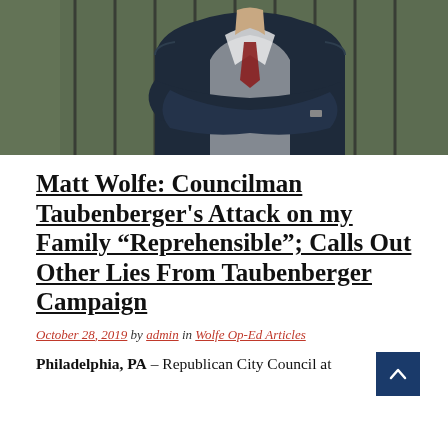[Figure (photo): Photo of a man in a dark blue suit with arms crossed, standing in front of iron fence railings and green foliage. Only the torso and arms are visible, cropped at the head and waist.]
Matt Wolfe: Councilman Taubenberger's Attack on my Family “Reprehensible”; Calls Out Other Lies From Taubenberger Campaign
October 28, 2019 by admin in Wolfe Op-Ed Articles
Philadelphia, PA – Republican City Council at